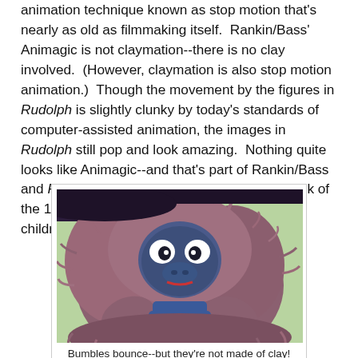animation technique known as stop motion that's nearly as old as filmmaking itself. Rankin/Bass' Animagic is not claymation--there is no clay involved. (However, claymation is also stop motion animation.) Though the movement by the figures in Rudolph is slightly clunky by today's standards of computer-assisted animation, the images in Rudolph still pop and look amazing. Nothing quite looks like Animagic--and that's part of Rankin/Bass and Rudolph's continued popularity. So the look of the 1964 animated classic not only entertains children but it amazes adults as well.
[Figure (photo): A close-up photograph of the Bumble (Abominable Snow Monster) puppet from the Rankin/Bass 1964 stop-motion animated special Rudolph the Red-Nosed Reindeer. The creature has shaggy purple/mauve fur, large white eyes with dark pupils, a blue nose and face, and appears to be biting or holding something blue. The background is light green.]
Bumbles bounce--but they're not made of clay!